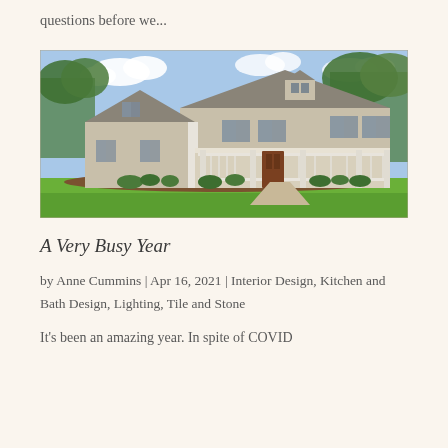questions before we...
[Figure (photo): Exterior photo of a large two-story colonial-style house with gray/beige siding, white trim, covered front porch with white railings, and lush green lawn with landscaping and trees in the background under a partly cloudy sky.]
A Very Busy Year
by Anne Cummins | Apr 16, 2021 | Interior Design, Kitchen and Bath Design, Lighting, Tile and Stone
It's been an amazing year. In spite of COVID